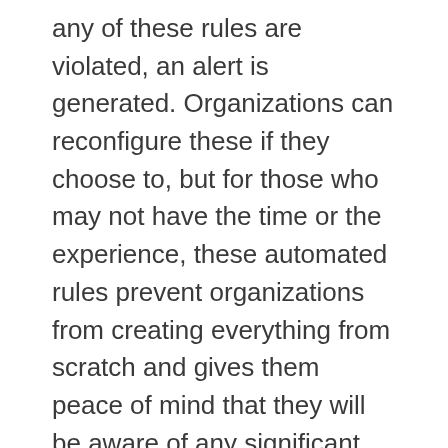any of these rules are violated, an alert is generated. Organizations can reconfigure these if they choose to, but for those who may not have the time or the experience, these automated rules prevent organizations from creating everything from scratch and gives them peace of mind that they will be aware of any significant issues and how to address them.
What's also unique to Circonus is that we link the health dashboards to the alerts and provide guided issue remediation. For example, if you receive an alert on crash loops, you can click on that alert to visualize the issue in the health dashboard. You will then be provided